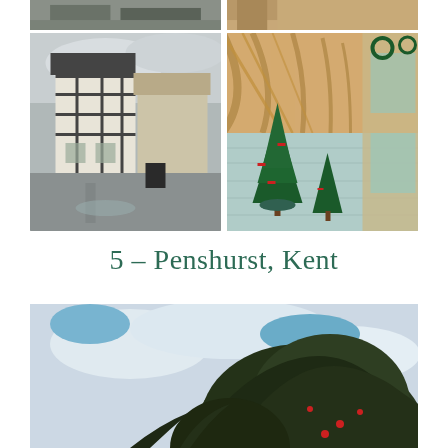[Figure (photo): Partial view of top-row left photo - English village street scene]
[Figure (photo): Partial view of top-row right photo - architectural interior]
[Figure (photo): Tudor-style half-timbered buildings on a wet street in an English village, rainy day]
[Figure (photo): Gothic vaulted corridor or cloister with Christmas trees decorated with red ribbons along the walkway]
5 – Penshurst, Kent
[Figure (photo): Looking up at a large tree against a blue-white sky, partially cut off at bottom of page]